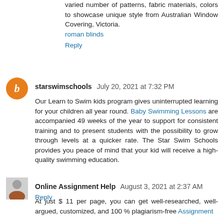varied number of patterns, fabric materials, colors to showcase unique style from Australian Window Covering, Victoria.
roman blinds
Reply
starswimschools July 20, 2021 at 7:32 PM
Our Learn to Swim kids program gives uninterrupted learning for your children all year round. Baby Swimming Lessons are accompanied 49 weeks of the year to support for consistent training and to present students with the possibility to grow through levels at a quicker rate. The Star Swim Schools provides you peace of mind that your kid will receive a high-quality swimming education.
Reply
Online Assignment Help August 3, 2021 at 2:37 AM
At just $ 11 per page, you can get well-researched, well-argued, customized, and 100 % plagiarism-free Assignment